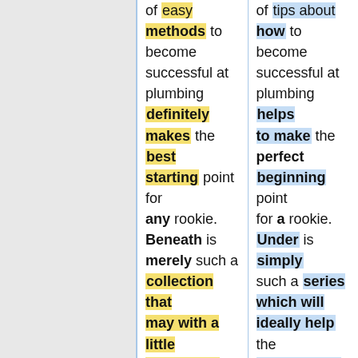of easy methods to become successful at plumbing definitely makes the best starting point for any rookie. Beneath is merely such a collection that may with a little luck assist the excited novice into eventually learning to be a master when it comes to plumbing related. <br><br> <br>Steer clear of freezing
of tips about how to become successful at plumbing helps to make the perfect beginning point for a rookie. Under is simply such a series which will ideally help the enthusiastic beginner into eventually learning to be a expert in relation to plumbing related. <br><br> <br>Avoid frosty water lines this winter